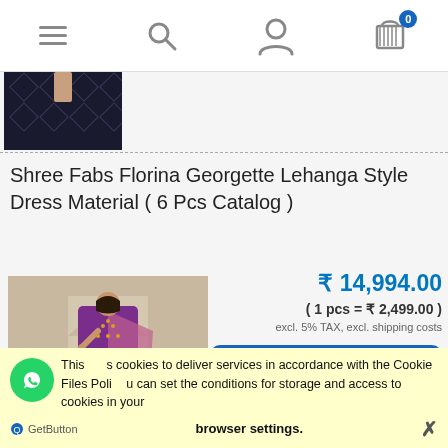Navigation header with menu, search, account, and cart icons
[Figure (photo): Thumbnail of product image showing a dark patterned floor/carpet]
Shree Fabs Florina Georgette Lehanga Style Dress Material ( 6 Pcs Catalog )
[Figure (photo): Product photo of a woman wearing a purple/mauve Georgette Lehanga Style Dress Material]
₹ 14,994.00
( 1 pcs = ₹ 2,499.00 )
excl. 5% TAX, excl. shipping costs
notify of product availability
This uses cookies to deliver services in accordance with the Cookie Files Policy. You can set the conditions for storage and access to cookies in your browser settings.